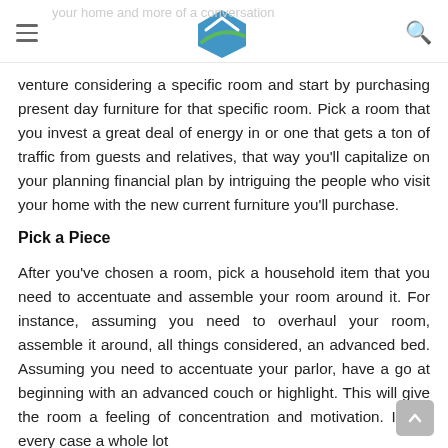venture considering a specific room and start by purchasing present day furniture for that specific room. Pick a room that you invest a great deal of energy in or one that gets a ton of traffic from guests and relatives, that way you'll capitalize on your planning financial plan by intriguing the people who visit your home with the new current furniture you'll purchase.
Pick a Piece
After you've chosen a room, pick a household item that you need to accentuate and assemble your room around it. For instance, assuming you need to overhaul your room, assemble it around, all things considered, an advanced bed. Assuming you need to accentuate your parlor, have a go at beginning with an advanced couch or highlight. This will give the room a feeling of concentration and motivation. It's in every case a whole lot